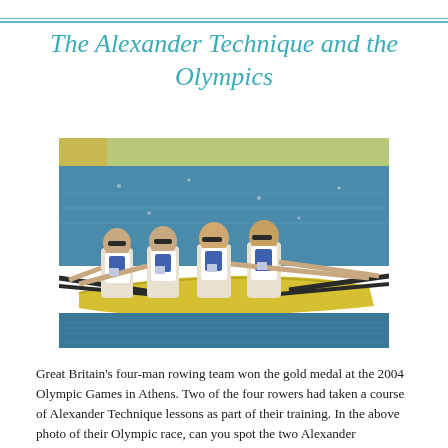The Alexander Technique and the Olympics
[Figure (photo): Photograph of Great Britain's four-man rowing team in a yellow boat on water, holding oars, wearing white and blue athletic uniforms with sunglasses, during their Olympic race at the 2004 Athens Games.]
Great Britain's four-man rowing team won the gold medal at the 2004 Olympic Games in Athens. Two of the four rowers had taken a course of Alexander Technique lessons as part of their training. In the above photo of their Olympic race, can you spot the two Alexander Technique students? (For a close-